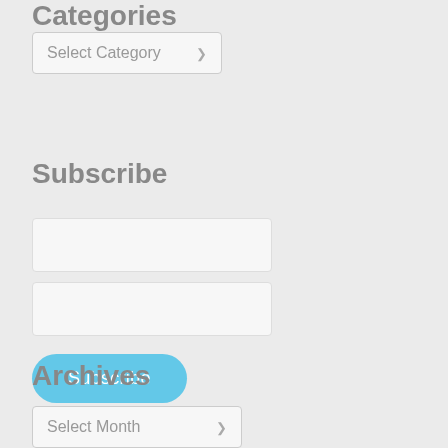Categories
Select Category
Subscribe
Subscribe
Archives
Select Month